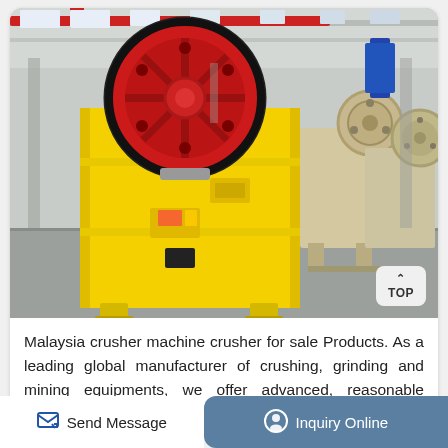[Figure (photo): Industrial jaw crusher machine painted yellow with red flywheel, photographed inside a large manufacturing warehouse. Several similar machines visible in background.]
Malaysia crusher machine crusher for sale Products. As a leading global manufacturer of crushing, grinding and mining equipments, we offer advanced, reasonable solutions for any size-reduction requirements including,
Send Message
Inquiry Online